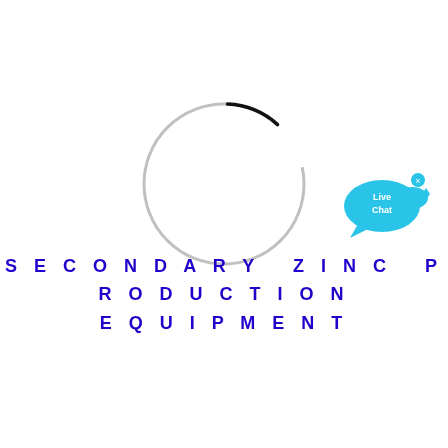[Figure (logo): A loading spinner circle — mostly light gray with a darker black arc in the bottom-right quadrant, suggesting a loading/spinning animation state.]
[Figure (other): Live Chat button widget — a cyan/teal speech bubble with 'Live Chat' text in white, with a small fish graphic and an 'x' close button in the top-right corner.]
SECONDARY ZINC PRODUCTION EQUIPMENT